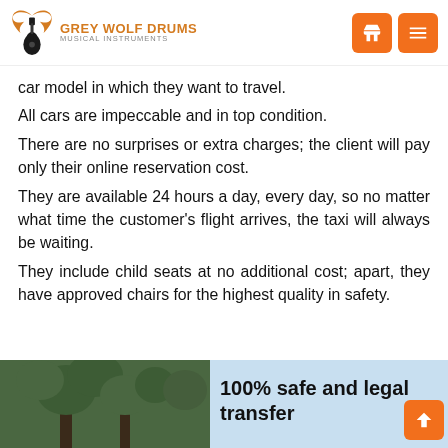GREY WOLF DRUMS - MUSICAL INSTRUMENTS
car model in which they want to travel. All cars are impeccable and in top condition. There are no surprises or extra charges; the client will pay only their online reservation cost. They are available 24 hours a day, every day, so no matter what time the customer's flight arrives, the taxi will always be waiting. They include child seats at no additional cost; apart, they have approved chairs for the highest quality in safety.
[Figure (photo): Bottom banner with trees/nature background and text '100% safe and legal transfer']